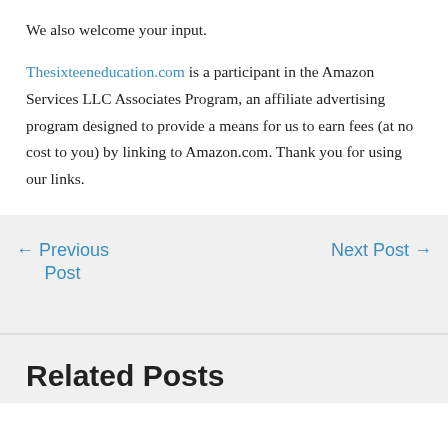We also welcome your input.
Thesixteeneducation.com is a participant in the Amazon Services LLC Associates Program, an affiliate advertising program designed to provide a means for us to earn fees (at no cost to you) by linking to Amazon.com. Thank you for using our links.
← Previous Post
Next Post →
Related Posts